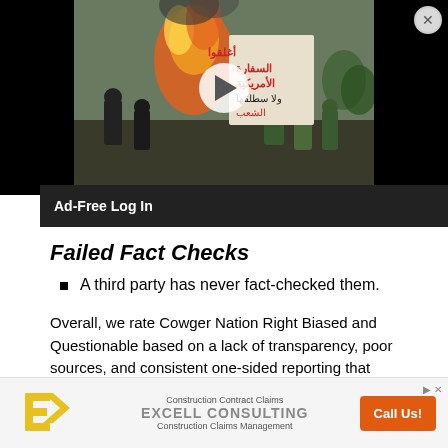[Figure (photo): Video player showing protest scene with fire and Arabic sign, over dark background with close button and play button overlay]
Ad-Free Log In
Failed Fact Checks
A third party has never fact-checked them.
Overall, we rate Cowger Nation Right Biased and Questionable based on a lack of transparency, poor sources, and consistent one-sided reporting that always favors the right. (D. Van Zandt 8/26/2017) Updated (8/4/2021)
[Figure (other): Advertisement banner for Excell Consulting with Construction Contract Claims text and Call Us button]